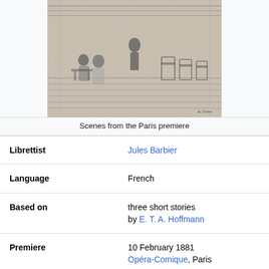[Figure (illustration): Black and white engraving depicting scenes from the Paris premiere of an opera, showing figures in a grand interior setting with chairs and tables.]
Scenes from the Paris premiere
| Librettist | Jules Barbier |
| Language | French |
| Based on | three short stories by E. T. A. Hoffmann |
| Premiere | 10 February 1881 Opéra-Comique, Paris |